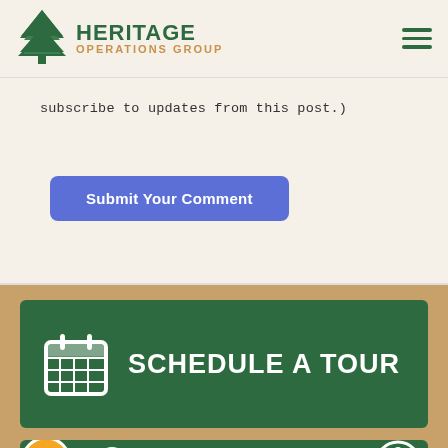[Figure (logo): Heritage Operations Group logo with green tree icon and text]
subscribe to updates from this post.)
[Figure (other): Submit Your Comment button (blue rounded rectangle)]
[Figure (other): Schedule a Tour green card with calendar icon]
[Figure (other): Find a Community green card with map pin icon, BB badge, and accessibility badge]